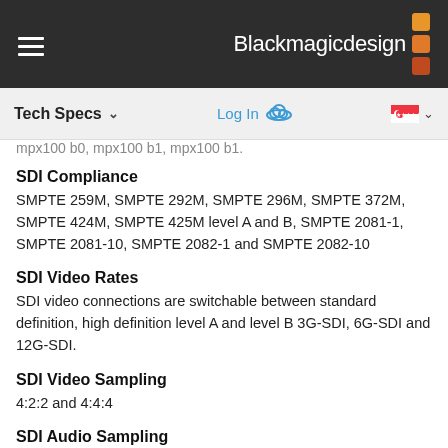Blackmagicdesign
Tech Specs  Log In
mpx100 b0, mpx100 b1, mpx100 b1.
SDI Compliance
SMPTE 259M, SMPTE 292M, SMPTE 296M, SMPTE 372M, SMPTE 424M, SMPTE 425M level A and B, SMPTE 2081-1, SMPTE 2081-10, SMPTE 2082-1 and SMPTE 2082-10
SDI Video Rates
SDI video connections are switchable between standard definition, high definition level A and level B 3G-SDI, 6G-SDI and 12G-SDI.
SDI Video Sampling
4:2:2 and 4:4:4
SDI Audio Sampling
Television standard sample rate of 48 kHz and 24-bit.
SDI Color Precision